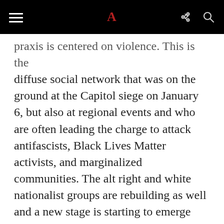≡  A  ↪ 🔍
praxis is centered on violence. This is the diffuse social network that was on the ground at the Capitol siege on January 6, but also at regional events and who are often leading the charge to attack antifascists, Black Lives Matter activists, and marginalized communities. The alt right and white nationalist groups are rebuilding as well and a new stage is starting to emerge from places like Telegram. So I am also focusing on established white nationalist projects and looking specifically at how they are shifting so